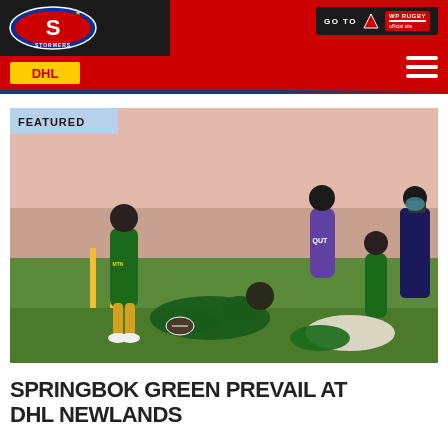Stormers DHL website header with navigation
[Figure (photo): Rugby action photo showing Springbok players in green jerseys scoring a try, with a player diving over the line holding the ball, teammates and opponents around them, stadium seating visible in background. Badge overlay reads FEATURED.]
SPRINGBOK GREEN PREVAIL AT DHL NEWLANDS